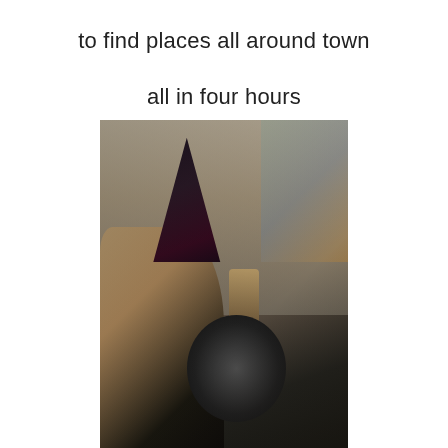to find places all around town
all in four hours
[Figure (photo): A person wearing a party hat sitting in the driver's seat of a car, pointing upward with one finger, viewed from behind/side. The car interior is visible including the steering wheel and dashboard.]